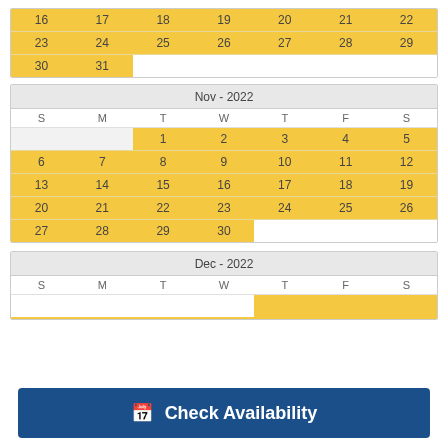| S | M | T | W | T | F | S |
| --- | --- | --- | --- | --- | --- | --- |
| 16 | 17 | 18 | 19 | 20 | 21 | 22 |
| 23 | 24 | 25 | 26 | 27 | 28 | 29 |
| 30 | 31 |  |  |  |  |  |
| S | M | T | W | T | F | S |
| --- | --- | --- | --- | --- | --- | --- |
|  |  | 1 | 2 | 3 | 4 | 5 |
| 6 | 7 | 8 | 9 | 10 | 11 | 12 |
| 13 | 14 | 15 | 16 | 17 | 18 | 19 |
| 20 | 21 | 22 | 23 | 24 | 25 | 26 |
| 27 | 28 | 29 | 30 |  |  |  |
| S | M | T | W | T | F | S |
| --- | --- | --- | --- | --- | --- | --- |